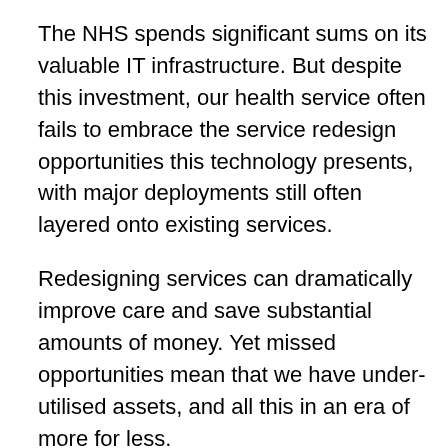The NHS spends significant sums on its valuable IT infrastructure. But despite this investment, our health service often fails to embrace the service redesign opportunities this technology presents, with major deployments still often layered onto existing services.
Redesigning services can dramatically improve care and save substantial amounts of money. Yet missed opportunities mean that we have under-utilised assets, and all this in an era of more for less.
The real opportunity to reshape the delivery of clinical services hand in hand with the deployment of IT programmes can be seen by taking a glance at the recent history of diagnostic services within the NHS. Radiology and pathology are both service delivery specialities within modern day medicine. Consultants from neither speciality